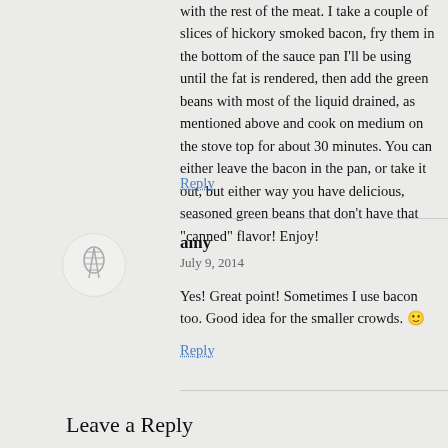with the rest of the meat. I take a couple of slices of hickory smoked bacon, fry them in the bottom of the sauce pan I'll be using until the fat is rendered, then add the green beans with most of the liquid drained, as mentioned above and cook on medium on the stove top for about 30 minutes. You can either leave the bacon in the pan, or take it out, but either way you have delicious, seasoned green beans that don't have that "canned" flavor! Enjoy!
Reply
amy
July 9, 2014
Yes! Great point! Sometimes I use bacon too. Good idea for the smaller crowds. 🙂
Reply
Leave a Reply